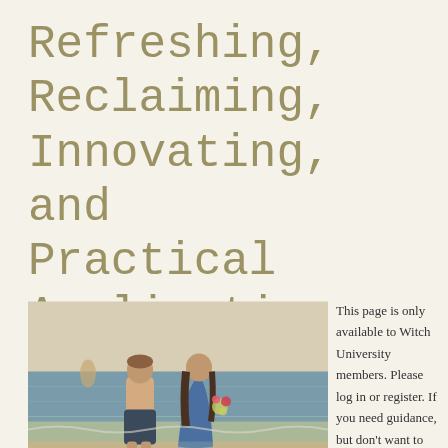Refreshing, Reclaiming, Innovating, and Practical Application
[Figure (photo): Two people standing at the water's edge on a beach, viewed from behind. One person is shirtless wearing dark shorts, the other is wearing a blue robe/dress and holding flowers.]
This page is only available to Witch University members. Please log in or register. If you need guidance, but don't want to register,